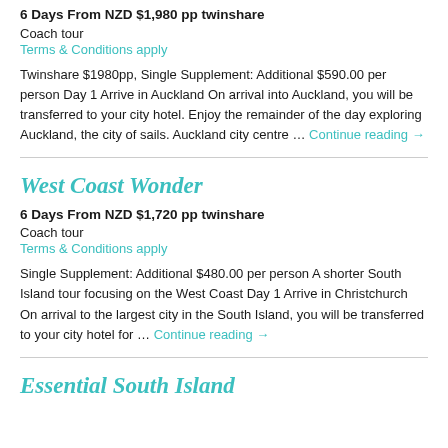6 Days From NZD $1,980 pp twinshare
Coach tour
Terms & Conditions apply
Twinshare $1980pp, Single Supplement: Additional $590.00 per person Day 1 Arrive in Auckland On arrival into Auckland, you will be transferred to your city hotel. Enjoy the remainder of the day exploring Auckland, the city of sails. Auckland city centre … Continue reading →
West Coast Wonder
6 Days From NZD $1,720 pp twinshare
Coach tour
Terms & Conditions apply
Single Supplement: Additional $480.00 per person A shorter South Island tour focusing on the West Coast Day 1 Arrive in Christchurch On arrival to the largest city in the South Island, you will be transferred to your city hotel for … Continue reading →
Essential South Island